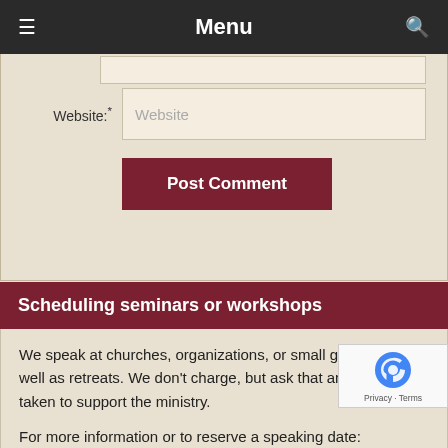Menu
Website:*
Post Comment
Scheduling seminars or workshops
We speak at churches, organizations, or small groups, as well as retreats. We don't charge, but ask that an offering be taken to support the ministry.
For more information or to reserve a speaking date:
Schedule a seminar or workshop